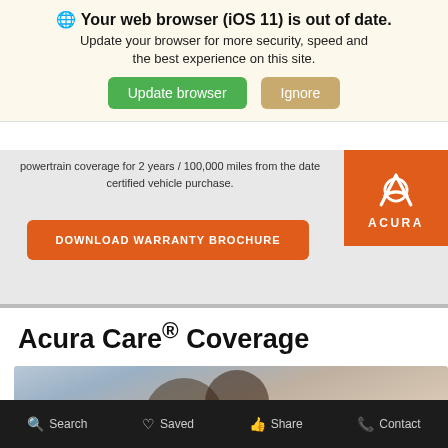🌐 Your web browser (iOS 11) is out of date. Update your browser for more security, speed and the best experience on this site.
certified vehicle purchase.
DOWNLOAD WARRANTY BROCHURE
Acura Care® Coverage
[Figure (photo): Photo of a smiling couple in a car dealership showroom]
Search   Saved   Share   Contact